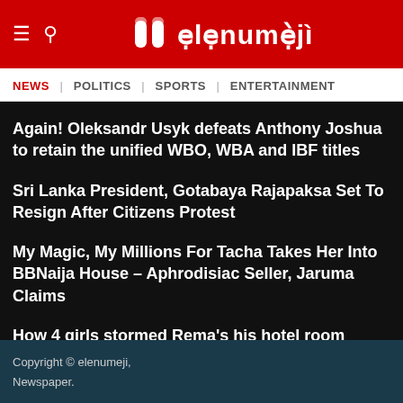[Figure (logo): elenumeji site logo on red header background with hamburger menu and search icons]
NEWS | POLITICS | SPORTS | ENTERTAINMENT
Again! Oleksandr Usyk defeats Anthony Joshua to retain the unified WBO, WBA and IBF titles
Sri Lanka President, Gotabaya Rajapaksa Set To Resign After Citizens Protest
My Magic, My Millions For Tacha Takes Her Into BBNaija House – Aphrodisiac Seller, Jaruma Claims
How 4 girls stormed Rema's his hotel room around 3am
Japan Ex-Prime Minister, Shinzo Abe Shot
Who could be Britain's next prime minister if Boris Johnson is ousted?
Copyright © elenumeji, Newspaper.